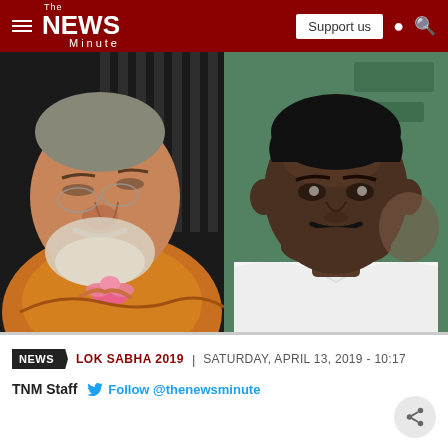The News Minute — navigation bar with hamburger menu, logo, Support us button, user icon, search icon
[Figure (photo): Split photo: on the left, Narendra Modi looking upward wearing saffron/orange attire holding a lotus flower; on the right, H.D. Kumaraswamy speaking, wearing white shirt, in front of a green backdrop]
NEWS | LOK SABHA 2019 | SATURDAY, APRIL 13, 2019 - 10:17
TNM Staff   Follow @thenewsminute